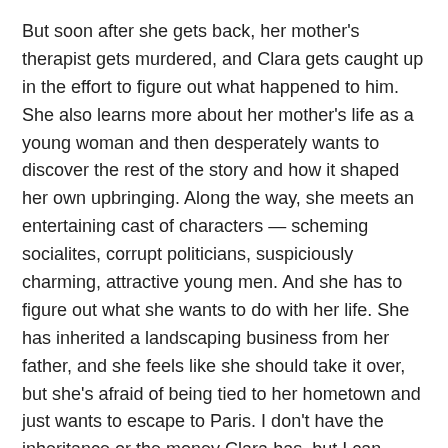But soon after she gets back, her mother's therapist gets murdered, and Clara gets caught up in the effort to figure out what happened to him. She also learns more about her mother's life as a young woman and then desperately wants to discover the rest of the story and how it shaped her own upbringing. Along the way, she meets an entertaining cast of characters — scheming socialites, corrupt politicians, suspiciously charming, attractive young men. And she has to figure out what she wants to do with her life. She has inherited a landscaping business from her father, and she feels like she should take it over, but she's afraid of being tied to her hometown and just wants to escape to Paris. I don't have the inheritance or the money Clara has, but I can identify with this feeling anyway.